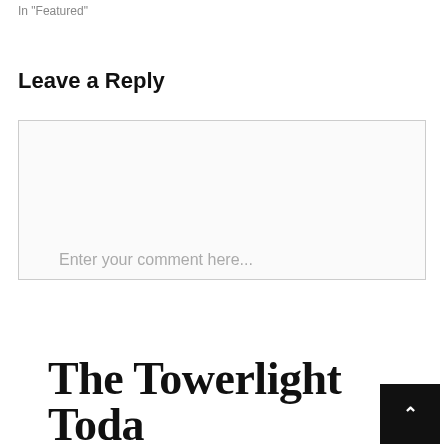In "Featured"
Leave a Reply
Enter your comment here...
The Towerlight Toda